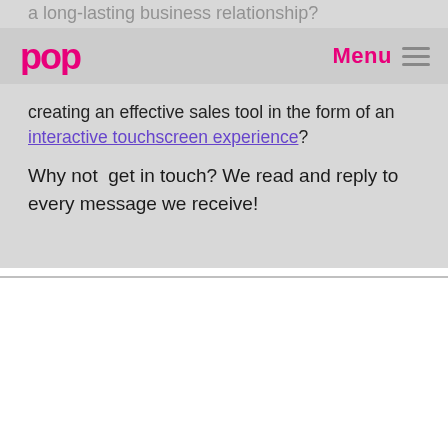a long-lasting business relationship?
[Figure (logo): POP logo in pink/magenta letters]
Menu
creating an effective sales tool in the form of an interactive touchscreen experience?
Why not  get in touch? We read and reply to every message we receive!
We use cookies on our website to give you the most relevant experience by remembering your preferences and repeat visits. By clicking "Accept All", you consent to the use of ALL the cookies. However, you may visit "Cookie Settings" to provide a controlled consent.
Cookie Settings
Accept All